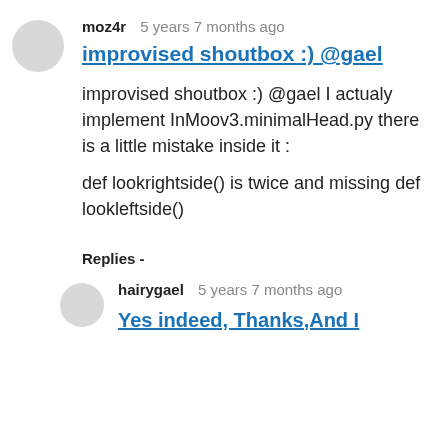moz4r   5 years 7 months ago
improvised shoutbox :) @gael
improvised shoutbox :) @gael I actualy implement InMoov3.minimalHead.py there is a little mistake inside it :
def lookrightside() is twice and missing def lookleftside()
Replies -
hairygael   5 years 7 months ago
Yes indeed, Thanks,And I